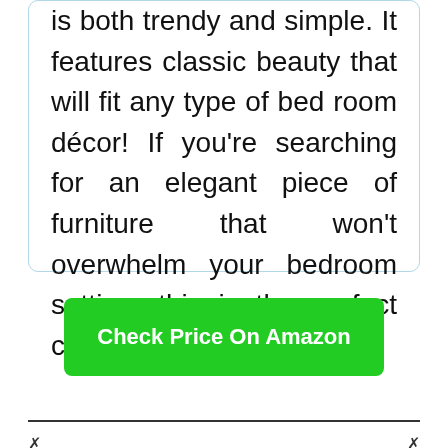DHP Sanford upholstered bed in black is both trendy and simple. It features classic beauty that will fit any type of bed room décor! If you're searching for an elegant piece of furniture that won't overwhelm your bedroom setting, this is the perfect choice for you.
Check Price On Amazon